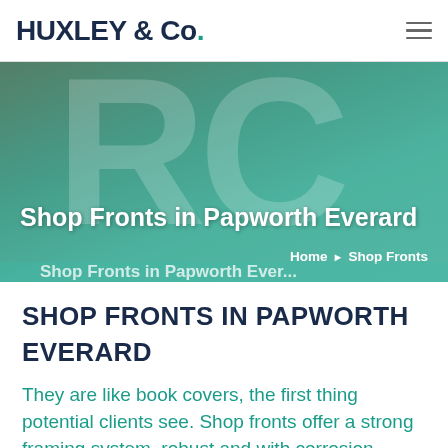HUXLEY & Co.
[Figure (photo): Hero banner image of a restaurant or cafe interior with teal/turquoise overlay and large decorative letters. Text overlay reads 'Shop Fronts in Papworth Everard' with breadcrumb navigation 'Home › Shop Fronts']
SHOP FRONTS IN PAPWORTH EVERARD
They are like book covers, the first thing potential clients see. Shop fronts offer a strong framing system, robust and with corrosion-